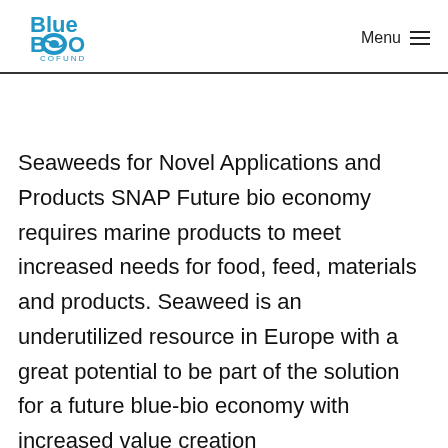Blue BIO COFUND — Menu
Seaweeds for Novel Applications and Products SNAP Future bio economy requires marine products to meet increased needs for food, feed, materials and products. Seaweed is an underutilized resource in Europe with a great potential to be part of the solution for a future blue-bio economy with increased value creation